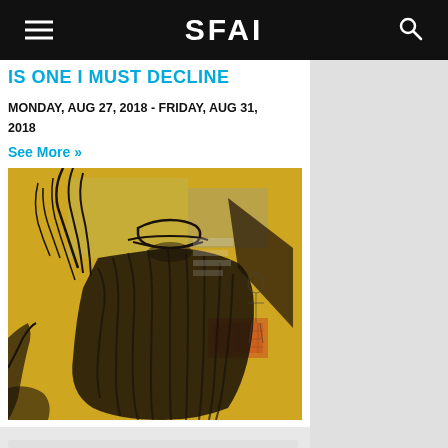SFAI
IS ONE I MUST DECLINE
MONDAY, AUG 27, 2018 - FRIDAY, AUG 31, 2018
See More »
[Figure (photo): Artwork showing a figure with a hat from behind, rendered in black brush strokes on a yellow background with mixed media collage elements]